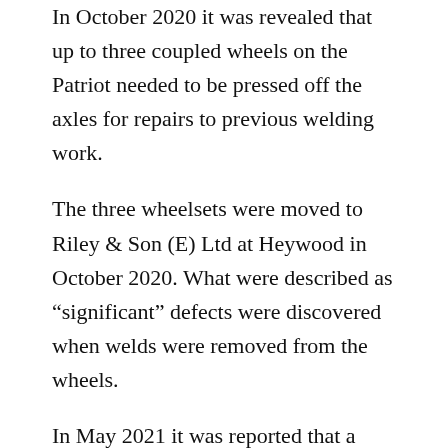In October 2020 it was revealed that up to three coupled wheels on the Patriot needed to be pressed off the axles for repairs to previous welding work.
The three wheelsets were moved to Riley & Son (E) Ltd at Heywood in October 2020. What were described as “significant” defects were discovered when welds were removed from the wheels.
In May 2021 it was reported that a crack had been discovered in one of its trailing wheel pans. It was initially thought that welding repairs could be carried out but the problem turned out to be more serious and the wheelset had to be scrapped. There will be further delays to the project as the material for axle replacement which was due to be supplied from South Africa cannot be delivered until autumn 2022. Alternative suppliers